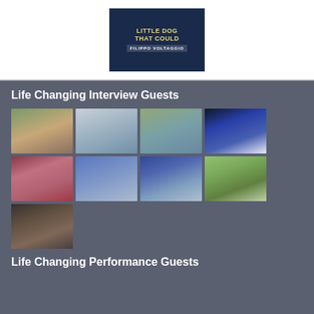[Figure (illustration): Book cover for 'The Little Dog That Could' by Filippo Voltaggio, dark blue background with golden yellow title text]
Life Changing Interview Guests
[Figure (photo): Grid of 9 portrait photos of interview guests on a dark gray background]
Life Changing Performance Guests